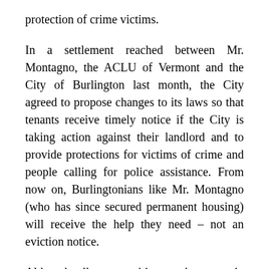protection of crime victims.
In a settlement reached between Mr. Montagno, the ACLU of Vermont and the City of Burlington last month, the City agreed to propose changes to its laws so that tenants receive timely notice if the City is taking action against their landlord and to provide protections for victims of crime and people calling for police assistance. From now on, Burlingtonians like Mr. Montagno (who has since secured permanent housing) will receive the help they need – not an eviction notice.
Although all communities need to remain vigilant to ensure municipalities do not use